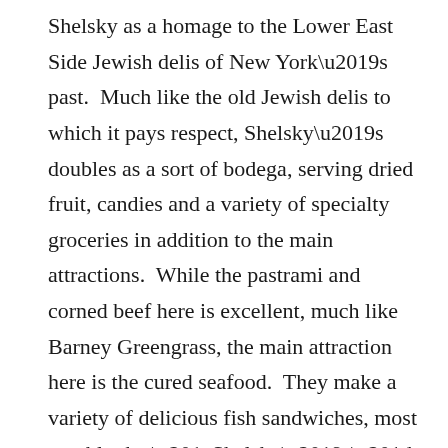Shelsky as a homage to the Lower East Side Jewish delis of New York's past.  Much like the old Jewish delis to which it pays respect, Shelsky's doubles as a sort of bodega, serving dried fruit, candies and a variety of specialty groceries in addition to the main attractions.  While the pastrami and corned beef here is excellent, much like Barney Greengrass, the main attraction here is the cured seafood.  They make a variety of delicious fish sandwiches, most notably the “Shelsky’s”, made up of lox, sable and pickled herring.  The classic bagel and lox shouldn’t be missed as well, giving many of the old contenders a run for their money.